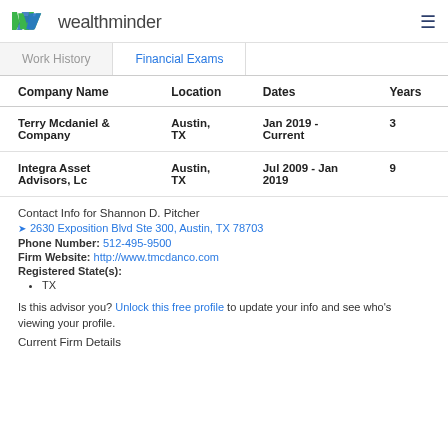wealthminder
| Company Name | Location | Dates | Years |
| --- | --- | --- | --- |
| Terry Mcdaniel & Company | Austin, TX | Jan 2019 - Current | 3 |
| Integra Asset Advisors, Lc | Austin, TX | Jul 2009 - Jan 2019 | 9 |
Contact Info for Shannon D. Pitcher
2630 Exposition Blvd Ste 300, Austin, TX 78703
Phone Number: 512-495-9500
Firm Website: http://www.tmcdanco.com
Registered State(s):
TX
Is this advisor you? Unlock this free profile to update your info and see who's viewing your profile.
Current Firm Details